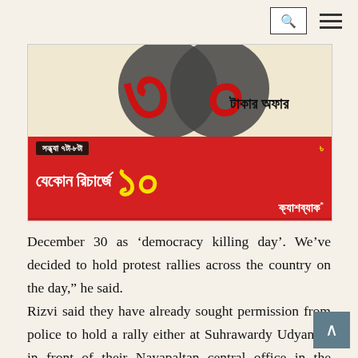[Figure (other): Bengali mobile recharge advertisement banner. Shows large red stylized '৩০' numerals at top on beige background with text 'টাকার অফার' (Taka offer). Below is a red banner with dark pill label 'সন্ধ্যা ৭টা-৮টা', yellow taka symbol, white Bengali text 'যেকোন রিচার্জে' and large yellow '১০' numeral, followed by white text 'ক্যাশব্যাক'. Footer shows small print and a 'বিস্তারিত' (details) button.]
December 30 as 'democracy killing day'. We've decided to hold protest rallies across the country on the day," he said.
Rizvi said they have already sought permission from police to hold a rally either at Suhrawardy Udyan or in front of their Nayapaltan central office in the capital on December 30.